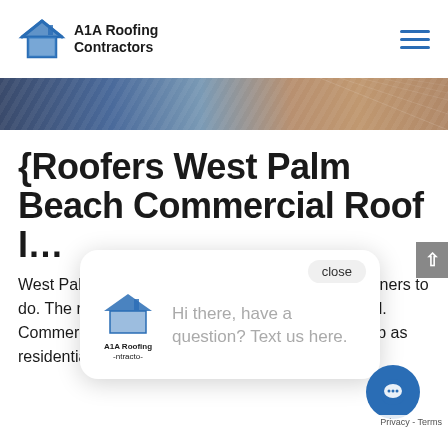A1A Roofing Contractors
[Figure (screenshot): Hero banner image showing roof tiles with dark blue and terracotta gradient]
{Roofers West Palm Beach Commercial Roof I…
West Palm … very popular. It is simple for homeowners to do. The roof lasts many more years than residential. Commercial roofing compani… can do the same job as residential roofing
[Figure (screenshot): Chat popup overlay with A1A Roofing Contractors logo and message: Hi there, have a question? Text us here. With close button and chat bubble icon.]